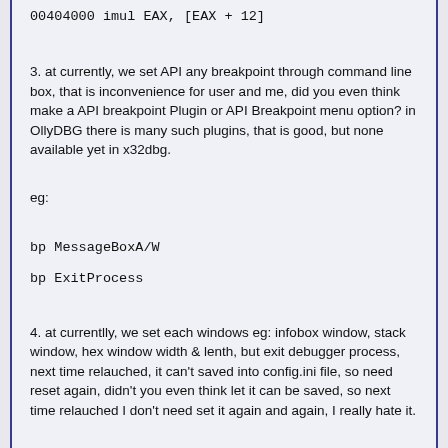00404000 imul EAX, [EAX + 12]
3. at currently, we set API any breakpoint through command line box, that is inconvenience for user and me, did you even think make a API breakpoint Plugin or API Breakpoint menu option? in OllyDBG there is many such plugins, that is good, but none available yet in x32dbg.
eg:
bp MessageBoxA/W
bp ExitProcess
4. at currentlly, we set each windows eg: infobox window, stack window, hex window width & lenth, but exit debugger process, next time relauched, it can't saved into config.ini file, so need reset again, didn't you even think let it can be saved, so next time relauched I don't need set it again and again, I really hate it.